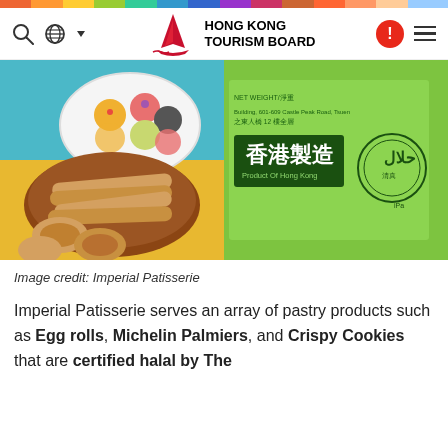Hong Kong Tourism Board
[Figure (photo): Left: colorful mochi balls on a white plate and egg rolls/wafer rolls on a brown plate with palmiers on yellow background. Right: green halal certification label showing Chinese characters 香港製造 (Product of Hong Kong) with Halal stamp.]
Image credit: Imperial Patisserie
Imperial Patisserie serves an array of pastry products such as Egg rolls, Michelin Palmiers, and Crispy Cookies that are certified halal by The